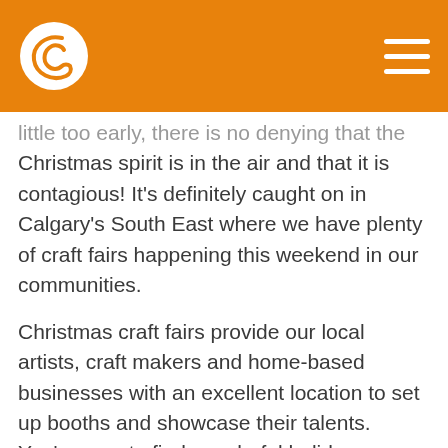[orange header bar with logo and hamburger menu]
little too early, there is no denying that the Christmas spirit is in the air and that it is contagious! It's definitely caught on in Calgary's South East where we have plenty of craft fairs happening this weekend in our communities.
Christmas craft fairs provide our local artists, craft makers and home-based businesses with an excellent location to set up booths and showcase their talents. You're sure to find wonderful holiday decorations as well as original and unique gifts. Here is a look at three craft fairs happening this weekend.